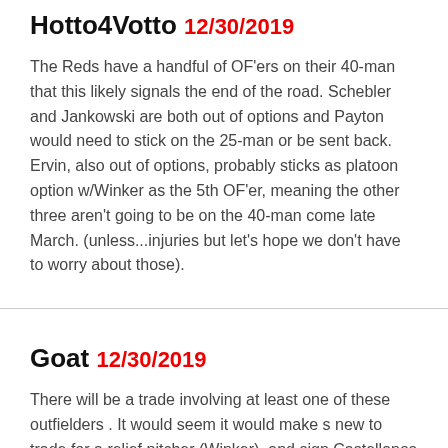Hotto4Votto 12/30/2019
The Reds have a handful of OF'ers on their 40-man that this likely signals the end of the road. Schebler and Jankowski are both out of options and Payton would need to stick on the 25-man or be sent back. Ervin, also out of options, probably sticks as platoon option w/Winker as the 5th OF'er, meaning the other three aren't going to be on the 40-man come late March. (unless...injuries but let's hope we don't have to worry about those).
Goat 12/30/2019
There will be a trade involving at least one of these outfielders . It would seem it would make s new to trade for a relief pitcher (Winker), and sign Castellanos or Ozuna. I don't think they're done with their moves